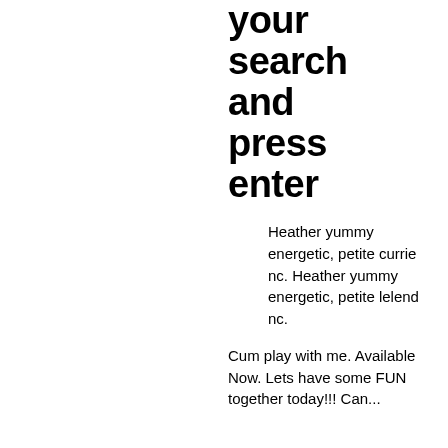your search and press enter
Heather yummy energetic, petite currie nc. Heather yummy energetic, petite lelend nc.
Cum play with me. Available Now. Lets have some FUN together today!!! Can...